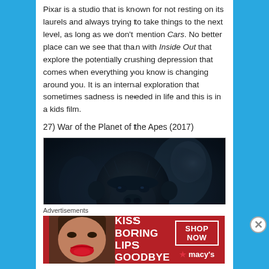Pixar is a studio that is known for not resting on its laurels and always trying to take things to the next level, as long as we don't mention Cars. No better place can we see that than with Inside Out that explore the potentially crushing depression that comes when everything you know is changing around you. It is an internal exploration that sometimes sadness is needed in life and this is in a kids film.
27) War of the Planet of the Apes (2017)
[Figure (photo): Dark cinematic still from War of the Planet of the Apes (2017) showing a chimpanzee figure in close-up against a dark blurred background]
Advertisements
[Figure (other): Macy's advertisement banner with red background showing 'KISS BORING LIPS GOODBYE' text with a woman's face and SHOP NOW button with Macy's star logo]